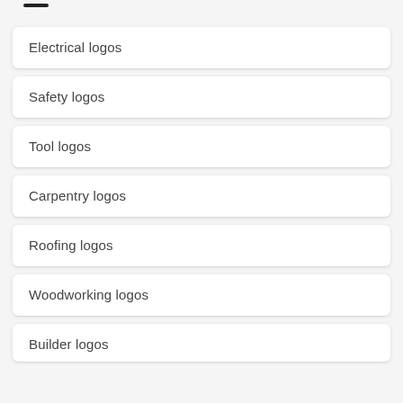Electrical logos
Safety logos
Tool logos
Carpentry logos
Roofing logos
Woodworking logos
Builder logos